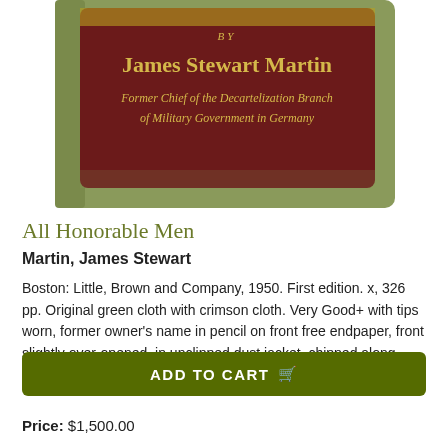[Figure (photo): Photo of a book cover/spine showing 'by James Stewart Martin, Former Chief of the Decartelization Branch of Military Government in Germany' on a dark crimson/maroon label with gold text, on a green cloth cover.]
All Honorable Men
Martin, James Stewart
Boston: Little, Brown and Company, 1950. First edition. x, 326 pp. Original green cloth with crimson cloth. Very Good+ with tips worn, former owner's name in pencil on front free endpaper, front slightly over-opened, in unclipped dust jacket, chipped along edges and rubbed, Good+ overall. Rare. A cult classic...... More >
ADD TO CART
Price: $1,500.00